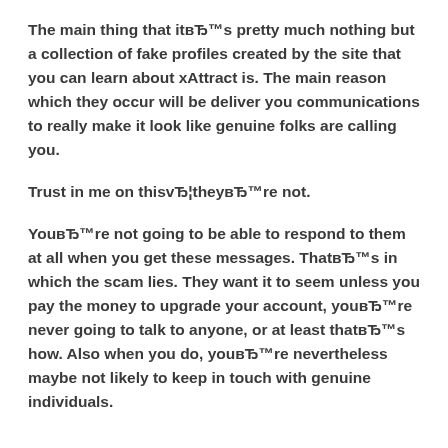The main thing that itвЂ™s pretty much nothing but a collection of fake profiles created by the site that you can learn about xAttract is. The main reason which they occur will be deliver you communications to really make it look like genuine folks are calling you.
Trust in me on thisvЂ¦theyвЂ™re not.
YouвЂ™re not going to be able to respond to them at all when you get these messages. ThatвЂ™s in which the scam lies. They want it to seem unless you pay the money to upgrade your account, youвЂ™re never going to talk to anyone, or at least thatвЂ™s how. Also when you do, youвЂ™re nevertheless maybe not likely to keep in touch with genuine individuals.